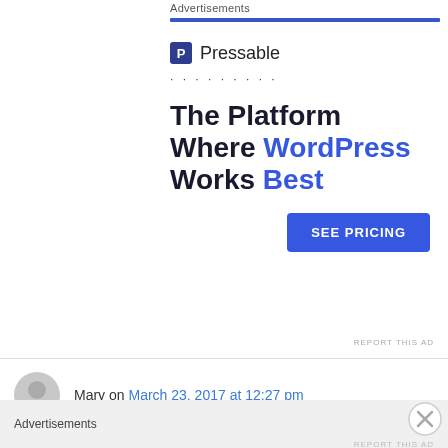Advertisements
[Figure (screenshot): Pressable advertisement banner with logo, dots, headline 'The Platform Where WordPress Works Best', and a 'SEE PRICING' button]
Mary on March 23, 2017 at 12:27 pm
Kathy I've been reading for awhile and enjoy
Advertisements